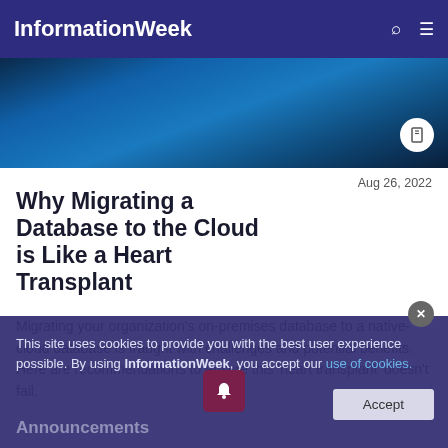InformationWeek
[Figure (photo): Hero image showing hands in blue-toned medical/technology setting]
Aug 26, 2022
Why Migrating a Database to the Cloud is Like a Heart Transplant
Migrating your organization's on-premises database to a native-cloud database is fraught with challenges and potential benefits. Here are recommendations to ensure this 'heart transplant' doesn't fail.
This site uses cookies to provide you with the best user experience possible. By using InformationWeek, you accept our use of cookies.
Accept
Announcements